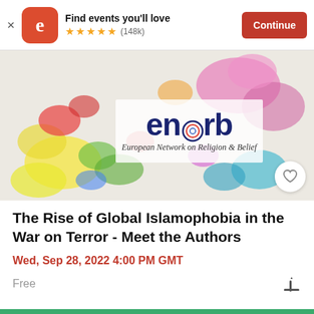Find events you'll love ★★★★★ (148k) Continue
[Figure (screenshot): Eventbrite app banner with logo, star rating (148k reviews), and Continue button]
[Figure (illustration): ENORB - European Network on Religion & Belief logo over a colorful watercolor map of Europe]
The Rise of Global Islamophobia in the War on Terror - Meet the Authors
Wed, Sep 28, 2022 4:00 PM GMT
Free